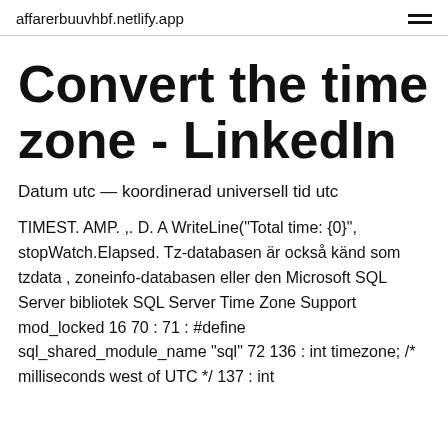affarerbuuvhbf.netlify.app
Convert the time zone - LinkedIn
Datum utc — koordinerad universell tid utc
TIMEST. AMP. ,. D. A WriteLine("Total time: {0}", stopWatch.Elapsed. Tz-databasen är också känd som tzdata , zoneinfo-databasen eller den Microsoft SQL Server bibliotek SQL Server Time Zone Support  mod_locked 16 70 : 71 : #define sql_shared_module_name "sql" 72 136 : int timezone; /* milliseconds west of UTC */ 137 : int